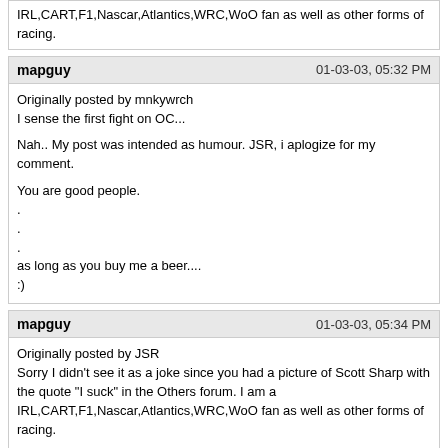IRL,CART,F1,Nascar,Atlantics,WRC,WoO fan as well as other forms of racing.
mapguy
01-03-03, 05:32 PM
Originally posted by mnkywrch
I sense the first fight on OC...

Nah.. My post was intended as humour. JSR, i aplogize for my comment.

You are good people.
.
.
.
as long as you buy me a beer....
:)
mapguy
01-03-03, 05:34 PM
Originally posted by JSR
Sorry I didn't see it as a joke since you had a picture of Scott Sharp with the quote "I suck" in the Others forum. I am a IRL,CART,F1,Nascar,Atlantics,WRC,WoO fan as well as other forms of racing.

I was in the middle of my apology when your post showed up.

BTW. Scott Sharp is not CART caliber talent. Therefore, IMO, he is a wanker and does suck.
JSR
01-03-03, 05:40 PM
Originally posted by mapguy
I was in the middle of my apology when your post showed up.

BTW. Scott Sharp is not CART caliber talent. Therefore, IMO, he is a wanker and does suck.